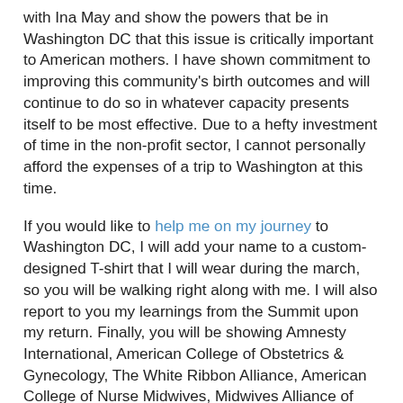with Ina May and show the powers that be in Washington DC that this issue is critically important to American mothers. I have shown commitment to improving this community's birth outcomes and will continue to do so in whatever capacity presents itself to be most effective. Due to a hefty investment of time in the non-profit sector, I cannot personally afford the expenses of a trip to Washington at this time.
If you would like to help me on my journey to Washington DC, I will add your name to a custom-designed T-shirt that I will wear during the march, so you will be walking right along with me. I will also report to you my learnings from the Summit upon my return. Finally, you will be showing Amnesty International, American College of Obstetrics & Gynecology, The White Ribbon Alliance, American College of Nurse Midwives, Midwives Alliance of North America, The Tatia Oden French Memorial Foundation, The Safe Motherhood Quilt Project, International Childbirth Education Association, Doulas of North America, The Organization of Labor Assistants for Birth Options & Resources, and MyBestBirth.com that you support their important work and the mission of this Summit to issue a directive to the US